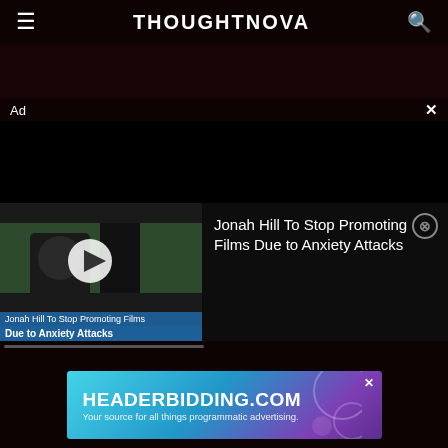THOUGHTNOVA
[Figure (screenshot): Ad banner area with dark background]
Ad
[Figure (screenshot): Video thumbnail of Jonah Hill at a red carpet event with play button overlay. Caption reads: 'Jonah Hill To Stop Promoting Films' and 'Due to Anxiety Attacks']
Jonah Hill To Stop Promoting Films Due to Anxiety Attacks
[Figure (screenshot): HEADERBIDDING.COM banner ad. Text: 'HEADERBIDDING.COM - Your source for all things programmatic advertising.']